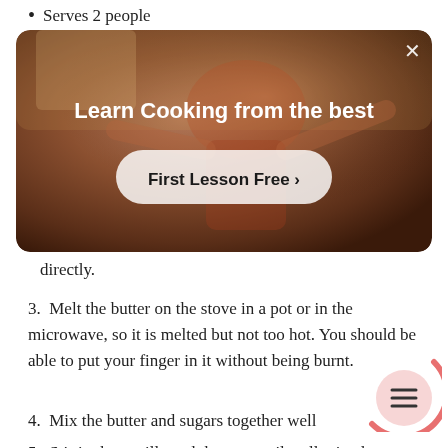Serves 2 people
[Figure (photo): Advertisement banner showing a person in a kitchen with text 'Learn Cooking from the best' and a 'First Lesson Free >' button]
directly.
3. Melt the butter on the stove in a pot or in the microwave, so it is melted but not too hot. You should be able to put your finger in it without being burnt.
4. Mix the butter and sugars together well
5. Stir in the vanilla and the egg until well mixed.